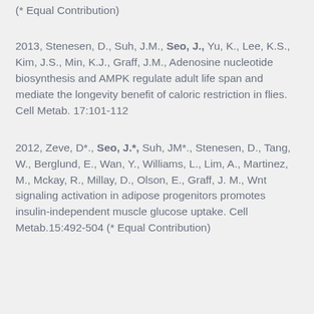(* Equal Contribution)
2013, Stenesen, D., Suh, J.M., Seo, J., Yu, K., Lee, K.S., Kim, J.S., Min, K.J., Graff, J.M., Adenosine nucleotide biosynthesis and AMPK regulate adult life span and mediate the longevity benefit of caloric restriction in flies. Cell Metab. 17:101-112
2012, Zeve, D*., Seo, J.*, Suh, JM*., Stenesen, D., Tang, W., Berglund, E., Wan, Y., Williams, L., Lim, A., Martinez, M., Mckay, R., Millay, D., Olson, E., Graff, J. M., Wnt signaling activation in adipose progenitors promotes insulin-independent muscle glucose uptake. Cell Metab.15:492-504 (* Equal Contribution)